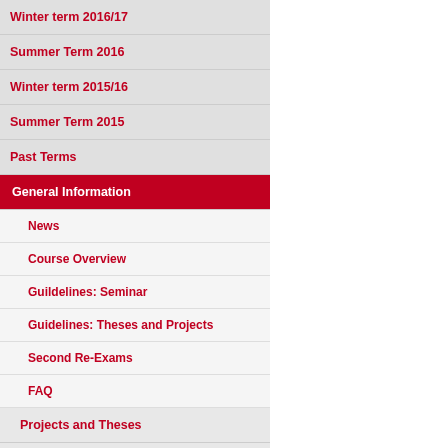printable version | Webma...
Winter term 2016/17
Summer Term 2016
Winter term 2015/16
Summer Term 2015
Past Terms
General Information
News
Course Overview
Guildelines: Seminar
Guidelines: Theses and Projects
Second Re-Exams
FAQ
Projects and Theses
Modules
Service
Jobs
Internal area
Contact  Impressum  Site...
Deutsch  Index A-Z  Mobil  Datensc...